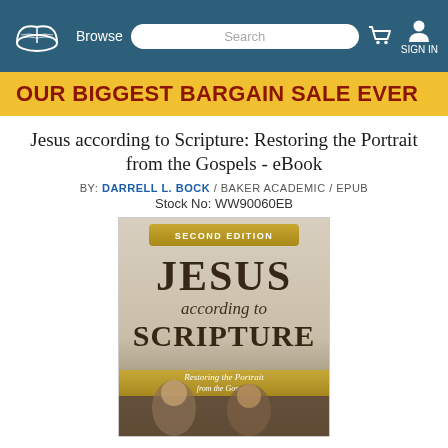Browse | Search | SIGN IN
OUR BIGGEST BARGAIN SALE EVER
Jesus according to Scripture: Restoring the Portrait from the Gospels - eBook
BY: DARRELL L. BOCK / BAKER ACADEMIC / EPUB
Stock No: WW90060EB
[Figure (illustration): Book cover of 'Jesus according to Scripture: Restoring the Portrait from the Gospels' Second Edition by Darrell L. Bock, published by Baker Academic. The cover features large serif text reading JESUS according to SCRIPTURE with subtitle 'Restoring the Portrait from the Gospels'. Background shows a classical painting of figures. A gold banner at the top reads SECOND EDITION and a gold band near the bottom contains the subtitle.]